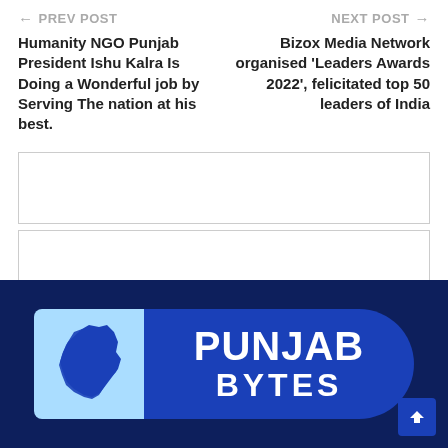← PREV POST   NEXT POST →
Humanity NGO Punjab President Ishu Kalra Is Doing a Wonderful job by Serving The nation at his best.
Bizox Media Network organised 'Leaders Awards 2022', felicitated top 50 leaders of India
[Figure (other): Empty advertisement box 1]
[Figure (other): Empty advertisement box 2]
[Figure (logo): Punjab Bytes logo: light blue square with Punjab state silhouette map on left, dark blue rounded rectangle with text PUNJAB BYTES on right, on dark navy background]